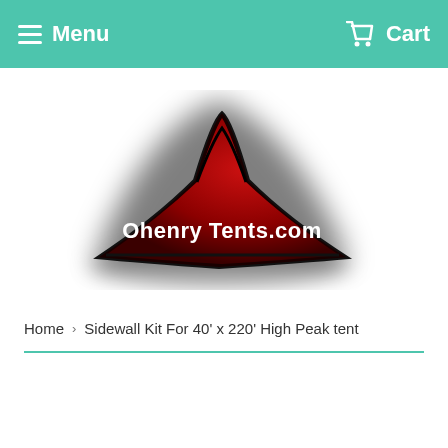Menu   Cart
[Figure (logo): OhenryTents.com logo: a red tent silhouette with white text 'Ohenry Tents.com' on a dark red tent shape with shadow effect]
Home  >  Sidewall Kit For 40' x 220' High Peak tent